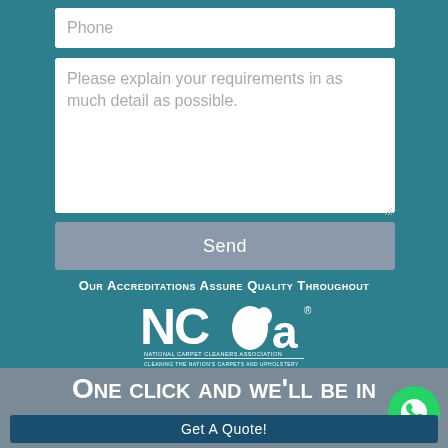Phone
Please explain your requirements in as much detail as possible.
Send
Our Accreditations Assure Quality Throughout
[Figure (logo): NCCA - National Carpet Cleaners Association logo with text 'Cleaning the Nation's Carpets and Upholstery']
One click and we'll be in touch
Get A Quote!